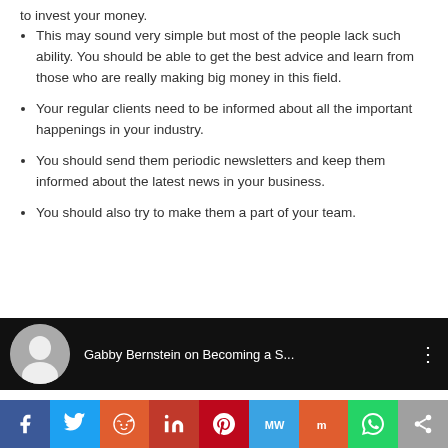to invest your money.
This may sound very simple but most of the people lack such ability. You should be able to get the best advice and learn from those who are really making big money in this field.
Your regular clients need to be informed about all the important happenings in your industry.
You should send them periodic newsletters and keep them informed about the latest news in your business.
You should also try to make them a part of your team.
[Figure (screenshot): Video thumbnail bar showing Gabby Bernstein on Becoming a S... with avatar photo on black background]
[Figure (infographic): Social sharing bar with Facebook, Twitter, Reddit, LinkedIn, Pinterest, MeWe, Mix, WhatsApp, and Share buttons]